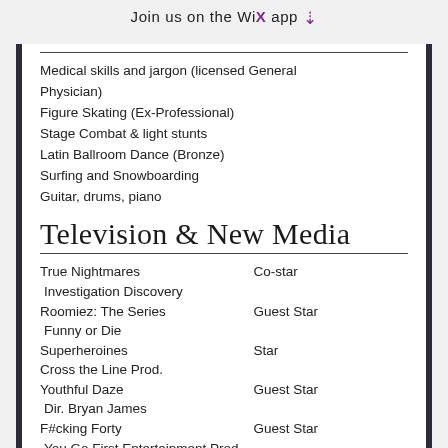Join us on the WiX app ↓
Medical skills and jargon (licensed General Physician)
Figure Skating (Ex-Professional)
Stage Combat & light stunts
Latin Ballroom Dance (Bronze)
Surfing and Snowboarding
Guitar, drums, piano
Television & New Media
| Production | Role |
| --- | --- |
| True Nightmares
 Investigation Discovery | Co-star |
| Roomiez: The Series
 Funny or Die | Guest Star |
| Superheroines
Cross the Line Prod. | Star |
| Youthful Daze
 Dir. Bryan James | Guest Star |
| F#cking Forty
 You Go First Entertainment Prod. | Guest Star |
Training